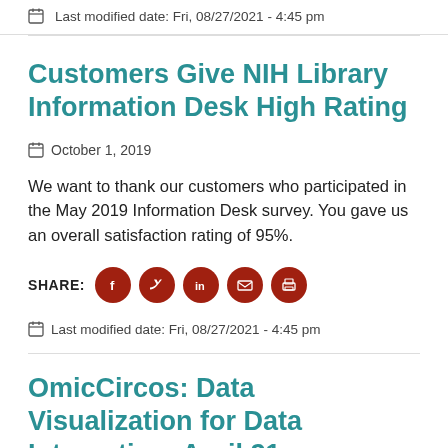Last modified date: Fri, 08/27/2021 - 4:45 pm
Customers Give NIH Library Information Desk High Rating
October 1, 2019
We want to thank our customers who participated in the May 2019 Information Desk survey. You gave us an overall satisfaction rating of 95%.
SHARE:
Last modified date: Fri, 08/27/2021 - 4:45 pm
OmicCircos: Data Visualization for Data Integration, April 21